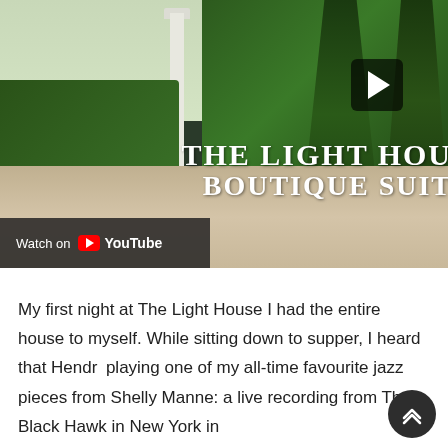[Figure (screenshot): YouTube video thumbnail showing a garden driveway with iron gate, hedges, and tall cypress trees. Video title overlay reads 'THE LIGHT HOUSE BOUTIQUE SUITE'. A play button is visible in the upper right. A 'Watch on YouTube' bar appears at the bottom left.]
My first night at The Light House I had the entire house to myself. While sitting down to supper, I heard that Hendri playing one of my all-time favourite jazz pieces from Shelly Manne: a live recording from The Black Hawk in New York in